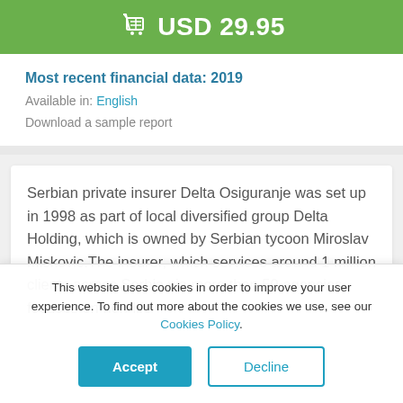USD 29.95
Most recent financial data: 2019
Available in: English
Download a sample report
Serbian private insurer Delta Osiguranje was set up in 1998 as part of local diversified group Delta Holding, which is owned by Serbian tycoon Miroslav Miskovic.The insurer, which services around 1 million clients across Serbia via more than 50 agencies, focuses on non-life
This website uses cookies in order to improve your user experience. To find out more about the cookies we use, see our Cookies Policy.
Accept
Decline